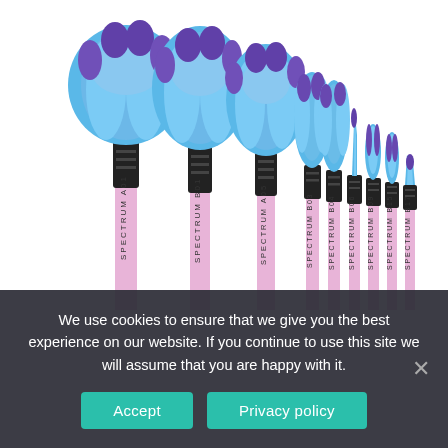[Figure (photo): A set of makeup brushes with pink/lavender handles, black ferrules, and blue/purple bristles. Multiple brushes of varying sizes are displayed, all branded SPECTRUM with product codes (A01, B01, A05, B03, B04, B06, B09, B15, B17). The larger brushes are fan-shaped face brushes on the left, and smaller detail brushes on the right.]
We use cookies to ensure that we give you the best experience on our website. If you continue to use this site we will assume that you are happy with it.
Accept
Privacy policy